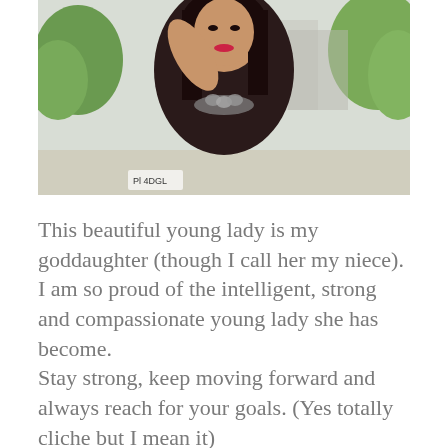[Figure (photo): A young woman in a black dress with a statement necklace, posing outdoors with trees and buildings in the background. She has long dark hair and red lipstick, with her hand raised near her face.]
This beautiful young lady is my goddaughter (though I call her my niece). I am so proud of the intelligent, strong and compassionate young lady she has become.
Stay strong, keep moving forward and always reach for your goals. (Yes totally cliche but I mean it)